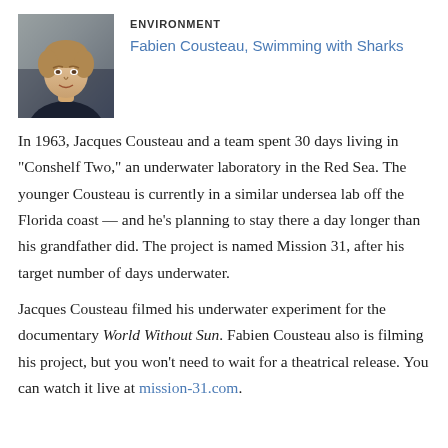[Figure (photo): Portrait photo of Fabien Cousteau, a man with light brown hair]
ENVIRONMENT
Fabien Cousteau, Swimming with Sharks
In 1963, Jacques Cousteau and a team spent 30 days living in "Conshelf Two," an underwater laboratory in the Red Sea. The younger Cousteau is currently in a similar undersea lab off the Florida coast — and he's planning to stay there a day longer than his grandfather did. The project is named Mission 31, after his target number of days underwater.
Jacques Cousteau filmed his underwater experiment for the documentary World Without Sun. Fabien Cousteau also is filming his project, but you won't need to wait for a theatrical release. You can watch it live at mission-31.com.